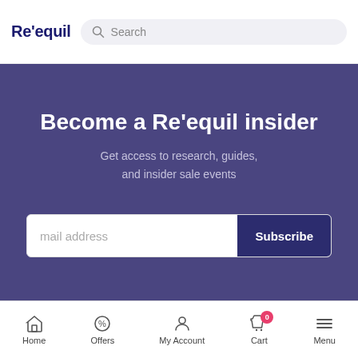Re'equil — Search
Become a Re'equil insider
Get access to research, guides, and insider sale events
[Figure (screenshot): Email subscribe form with placeholder 'mail address' and a 'Subscribe' button]
[Figure (infographic): Gift icon button (dark navy circle, bottom right)]
[Figure (infographic): Chat bubble overlay (grey circle with ellipsis, bottom left)]
Read Related Blogs
Home  Offers  My Account  Cart  Menu